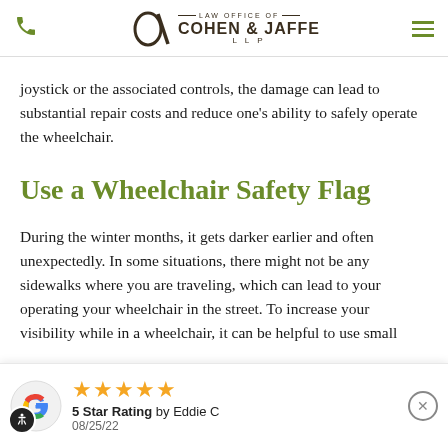Law Office of Cohen & Jaffe LLP
joystick or the associated controls, the damage can lead to substantial repair costs and reduce one's ability to safely operate the wheelchair.
Use a Wheelchair Safety Flag
During the winter months, it gets darker earlier and often unexpectedly. In some situations, there might not be any sidewalks where you are traveling, which can lead to your operating your wheelchair in the street. To increase your visibility while in a wheelchair, it can be helpful to use small
5 Star Rating by Eddie C 08/25/22